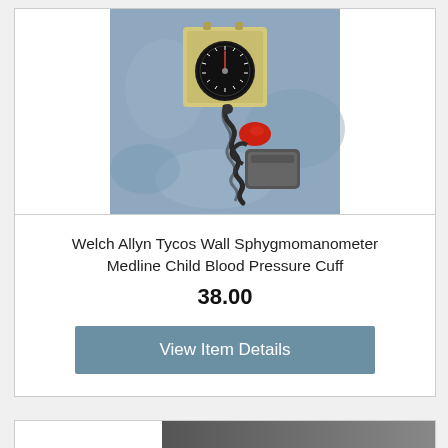[Figure (photo): A Welch Allyn Tycos wall sphygmomanometer (blood pressure gauge) with a circular analog dial face in a yellow/beige square housing, mounted above a coiled black tube connected to a red rubber bulb and a grey blood pressure cuff, laid on a blue/grey fabric background.]
Welch Allyn Tycos Wall Sphygmomanometer Medline Child Blood Pressure Cuff
38.00
View Item Details